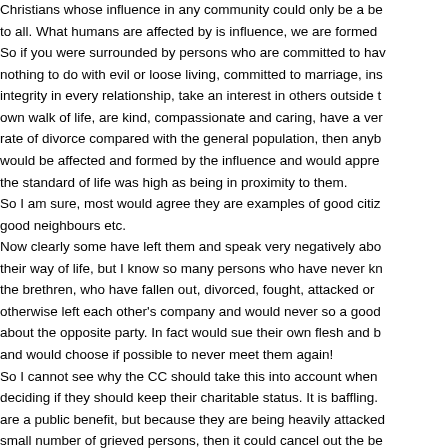Christians whose influence in any community could only be a benefit to all. What humans are affected by is influence, we are formed So if you were surrounded by persons who are committed to having nothing to do with evil or loose living, committed to marriage, integrity in every relationship, take an interest in others outside their own walk of life, are kind, compassionate and caring, have a very lower rate of divorce compared with the general population, then anybody would be affected and formed by the influence and would appreciate the standard of life was high as being in proximity to them. So I am sure, most would agree they are examples of good citizens, good neighbours etc. Now clearly some have left them and speak very negatively about their way of life, but I know so many persons who have never known the brethren, who have fallen out, divorced, fought, attacked or otherwise left each other's company and would never so a good word about the opposite party. In fact would sue their own flesh and blood and would choose if possible to never meet them again! So I cannot see why the CC should take this into account when deciding if they should keep their charitable status. It is baffling. are a public benefit, but because they are being heavily attacked by a small number of grieved persons, then it could cancel out the benefit. Most would be able to see this does not make sense. Just look at some of the negative postings on here and ask why should...